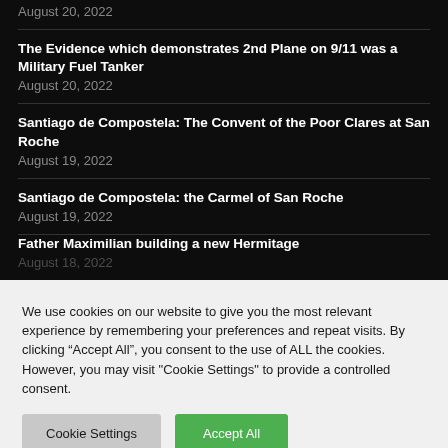August 20, 2022
The Evidence which demonstrates 2nd Plane on 9/11 was a Military Fuel Tanker
August 20, 2022
Santiago de Compostela: The Convent of the Poor Clares at San Roche
August 19, 2022
Santiago de Compostela: the Carmel of San Roche
August 19, 2022
Father Maximilian building a new Hermitage
August 18, 2022
We use cookies on our website to give you the most relevant experience by remembering your preferences and repeat visits. By clicking “Accept All”, you consent to the use of ALL the cookies. However, you may visit "Cookie Settings" to provide a controlled consent.